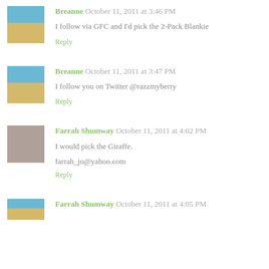Breanne October 11, 2011 at 3:46 PM
I follow via GFC and I'd pick the 2-Pack Blankie
Reply
Breanne October 11, 2011 at 3:47 PM
I follow you on Twitter @razzmyberry
Reply
Farrah Shumway October 11, 2011 at 4:02 PM
I would pick the Giraffe.
farrah_jo@yahoo.com
Reply
Farrah Shumway October 11, 2011 at 4:05 PM